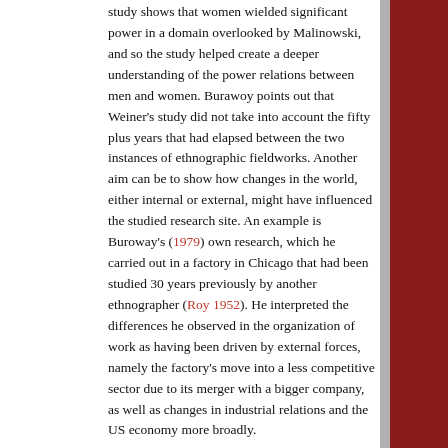study shows that women wielded significant power in a domain overlooked by Malinowski, and so the study helped create a deeper understanding of the power relations between men and women. Burawoy points out that Weiner's study did not take into account the fifty plus years that had elapsed between the two instances of ethnographic fieldworks. Another aim can be to show how changes in the world, either internal or external, might have influenced the studied research site. An example is Buroway's (1979) own research, which he carried out in a factory in Chicago that had been studied 30 years previously by another ethnographer (Roy 1952). He interpreted the differences he observed in the organization of work as having been driven by external forces, namely the factory's move into a less competitive sector due to its merger with a bigger company, as well as changes in industrial relations and the US economy more broadly.
The second type of revisit is characterized by researchers going back to their own research site. Buroway (2003) identifies four such types of revisit: (1) the focused revisit (going back to find out something